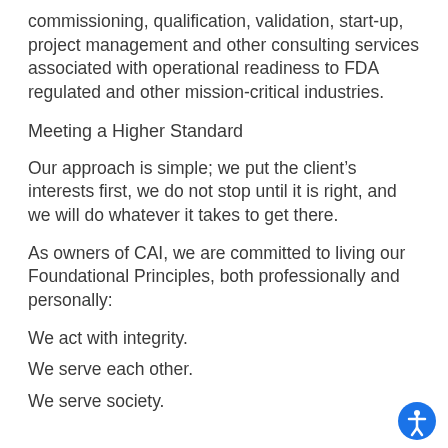commissioning, qualification, validation, start-up, project management and other consulting services associated with operational readiness to FDA regulated and other mission-critical industries.
Meeting a Higher Standard
Our approach is simple; we put the client’s interests first, we do not stop until it is right, and we will do whatever it takes to get there.
As owners of CAI, we are committed to living our Foundational Principles, both professionally and personally:
We act with integrity.
We serve each other.
We serve society.